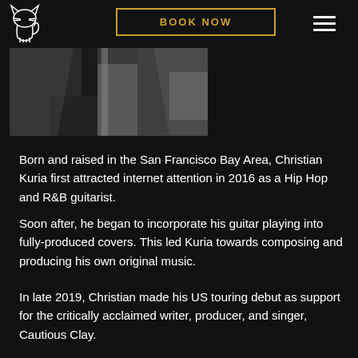[Figure (logo): White cat silhouette logo on dark background]
BOOK NOW
[Figure (photo): Black and white partial photo of a person or scene, partially visible]
Born and raised in the San Francisco Bay Area, Christian Kuria first attracted internet attention in 2016 as a Hip Hop and R&B guitarist.
Soon after, he began to incorporate his guitar playing into fully-produced covers. This led Kuria towards composing and producing his own original music.
In late 2019, Christian made his US touring debut as support for the critically acclaimed writer, producer, and singer, Cautious Clay.